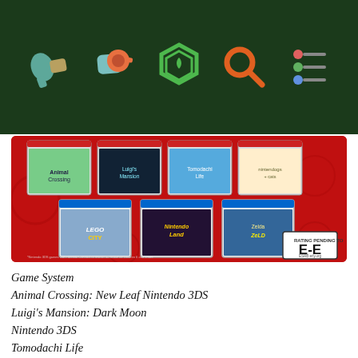Navigation header with icons: controller, whistle/headset, hexagon logo, magnifying glass, menu dots
[Figure (photo): Nintendo game advertisement image on red background showing Nintendo 3DS game covers (Animal Crossing: New Leaf, Luigi's Mansion: Dark Moon, Tomodachi Life, nintendogs + cats) and Wii U game covers (LEGO City, Nintendo Land, The Legend of Zelda: Wind Waker HD) with ESRB E-E rating badge]
Game System
Animal Crossing: New Leaf Nintendo 3DS
Luigi's Mansion: Dark Moon
Nintendo 3DS
Tomodachi Life
Nintendo 3DS
nintendogs + cats: Golden Retriever & New Friends